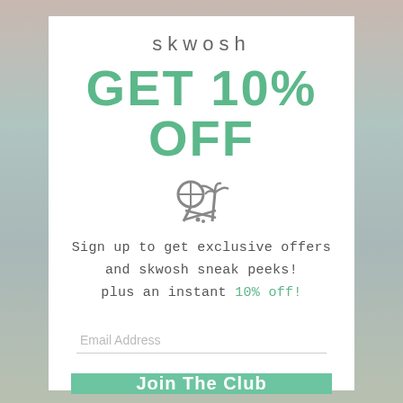skwosh
GET 10% OFF
[Figure (illustration): Crossed beach paddle/tennis racket and palm tree icon in gray]
Sign up to get exclusive offers and skwosh sneak peeks! plus an instant 10% off!
Email Address
Join The Club